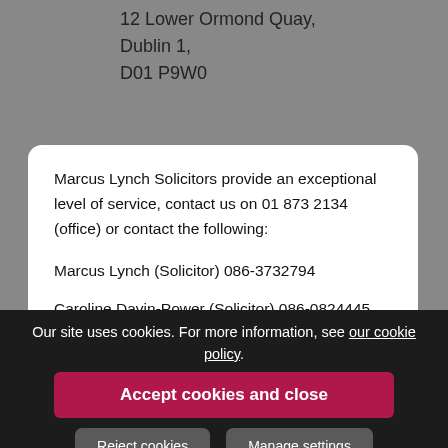12 Lower Ormond Quay,
Dublin 1,
D01 P9W0
Marcus Lynch Solicitors provide an exceptional level of service, contact us on 01 873 2134 (office) or contact the following:
Marcus Lynch (Solicitor) 086-3732794
Caroline Davin-Power (Solicitor) 086-0824445
Our site uses cookies. For more information, see our cookie policy.
Accept cookies and close
Reject cookies
Manage settings